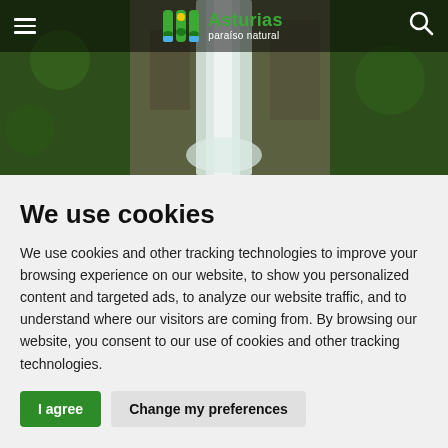Asturias paraíso natural — navigation header with hamburger menu and search icon
[Figure (photo): Waterfall cascading down a rocky cliff surrounded by lush green vegetation]
We use cookies
We use cookies and other tracking technologies to improve your browsing experience on our website, to show you personalized content and targeted ads, to analyze our website traffic, and to understand where our visitors are coming from. By browsing our website, you consent to our use of cookies and other tracking technologies.
I agree | Change my preferences